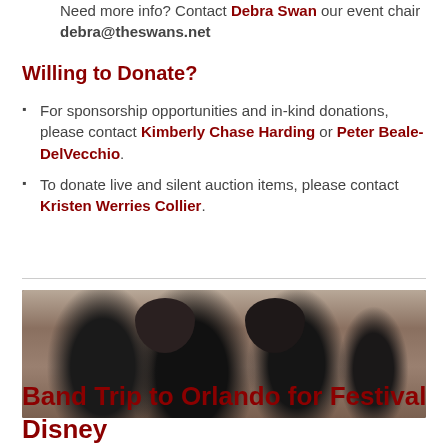Need more info? Contact Debra Swan our event chair debra@theswans.net
Willing to Donate?
For sponsorship opportunities and in-kind donations, please contact Kimberly Chase Harding or Peter Beale-DelVecchio.
To donate live and silent auction items, please contact Kristen Werries Collier.
[Figure (photo): Young men in formal attire (tuxedos/bow ties) wearing Mickey Mouse ears, smiling and laughing at an outdoor event.]
Band Trip to Orlando for Festival Disney